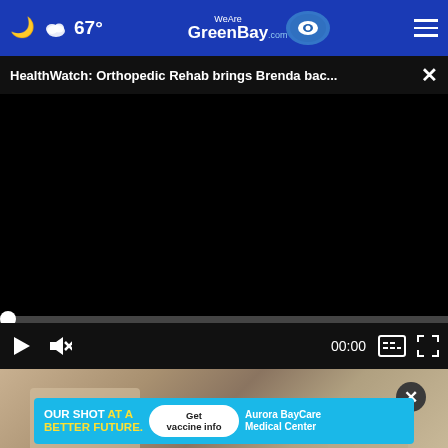67° WeAreGreenBay.com
HealthWatch: Orthopedic Rehab brings Brenda bac...
[Figure (screenshot): Black video player with progress bar showing 00:00, play button, mute button, caption button, and fullscreen button]
[Figure (photo): Background photo partially visible below video player]
[Figure (infographic): Aurora BayCare Medical Center advertisement: OUR SHOT AT A BETTER FUTURE. Get vaccine info button.]